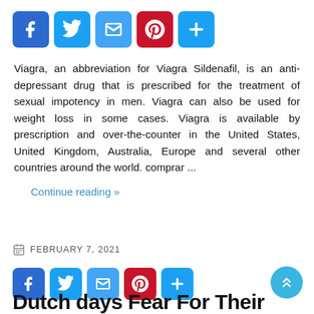[Figure (infographic): Social sharing buttons: Facebook (blue), Twitter (blue), Email (blue), Pinterest (red), Plus/share (blue)]
Viagra, an abbreviation for Viagra Sildenafil, is an anti-depressant drug that is prescribed for the treatment of sexual impotency in men. Viagra can also be used for weight loss in some cases. Viagra is available by prescription and over-the-counter in the United States, United Kingdom, Australia, Europe and several other countries around the world. comprar ...
Continue reading »
FEBRUARY 7, 2021
[Figure (infographic): Social sharing buttons bottom row: Facebook (blue), Twitter (blue), Email (blue), Pinterest (red), Plus/share (blue)]
Dutch days Fear For Their